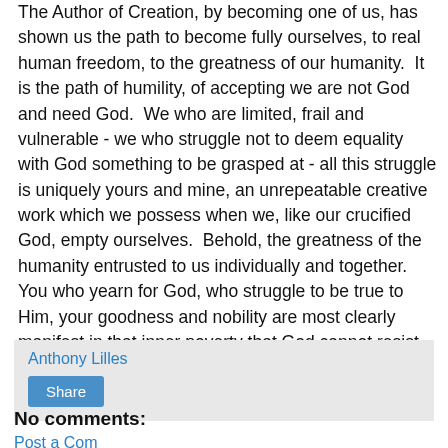The Author of Creation, by becoming one of us, has shown us the path to become fully ourselves, to real human freedom, to the greatness of our humanity.  It is the path of humility, of accepting we are not God and need God.  We who are limited, frail and vulnerable - we who struggle not to deem equality with God something to be grasped at - all this struggle is uniquely yours and mine, an unrepeatable creative work which we possess when we, like our crucified God, empty ourselves.  Behold, the greatness of the humanity entrusted to us individually and together.  You who yearn for God, who struggle to be true to Him, your goodness and nobility are most clearly manifest in that inner poverty that God cannot resist and yearns to fill with his love - yes, you yourself, He wills to live forever with Him.
Anthony Lilles
Share
No comments:
Post a Comment